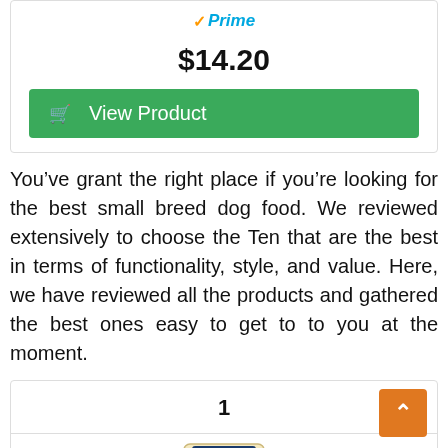[Figure (logo): Amazon Prime badge with orange checkmark and blue italic Prime text]
$14.20
[Figure (other): Green View Product button with cart icon]
You’ve grant the right place if you’re looking for the best small breed dog food. We reviewed extensively to choose the Ten that are the best in terms of functionality, style, and value. Here, we have reviewed all the products and gathered the best ones easy to get to to you at the moment.
1
[Figure (photo): Partial view of a dog food bag labeled New Size 5 Lbs.]